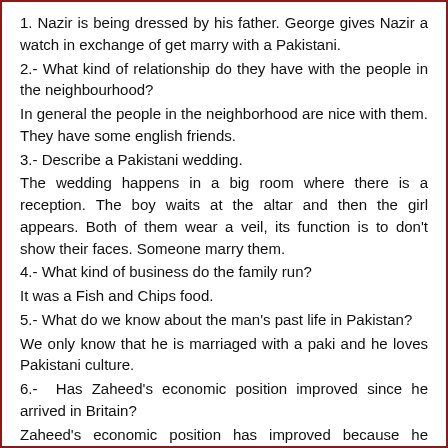1. Nazir is being dressed by his father. George gives Nazir a watch in exchange of get marry with a Pakistani.
2.- What kind of relationship do they have with the people in the neighbourhood?
In general the people in the neighborhood are nice with them. They have some english friends.
3.- Describe a Pakistani wedding.
The wedding happens in a big room where there is a reception. The boy waits at the altar and then the girl appears. Both of them wear a veil, its function is to don't show their faces. Someone marry them.
4.- What kind of business do the family run?
It was a Fish and Chips food.
5.- What do we know about the man's past life in Pakistan?
We only know that he is marriaged with a paki and he loves Pakistani culture.
6.-  Has Zaheed's economic position improved since he arrived in Britain?
Zaheed's economic position has improved because he arrives to Britain with nothing and he now has a house and a shop.
7.-What opinion does the father have about British